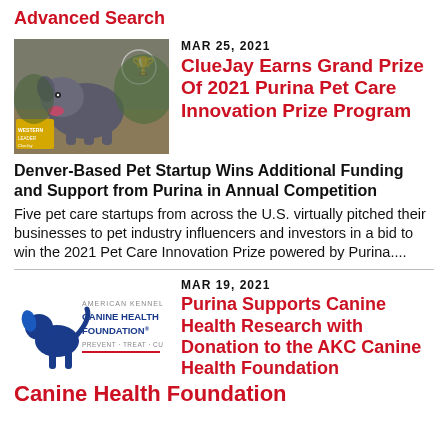Advanced Search
[Figure (photo): Photo of a large blue-nose pit bull dog lying down outdoors on a patio, with a yellow product box (ClueJay brand) in the lower left and a trophy icon in upper right]
MAR 25, 2021
ClueJay Earns Grand Prize Of 2021 Purina Pet Care Innovation Prize Program
Denver-Based Pet Startup Wins Additional Funding and Support from Purina in Annual Competition
Five pet care startups from across the U.S. virtually pitched their businesses to pet industry influencers and investors in a bid to win the 2021 Pet Care Innovation Prize powered by Purina....
[Figure (logo): American Kennel Club Canine Health Foundation logo with blue dog silhouette and text: AMERICAN KENNEL CLUB / CANINE HEALTH FOUNDATION / PREVENT · TREAT · CURE]
MAR 19, 2021
Purina Supports Canine Health Research with Donation to the AKC Canine Health Foundation
Canine Health Foundation